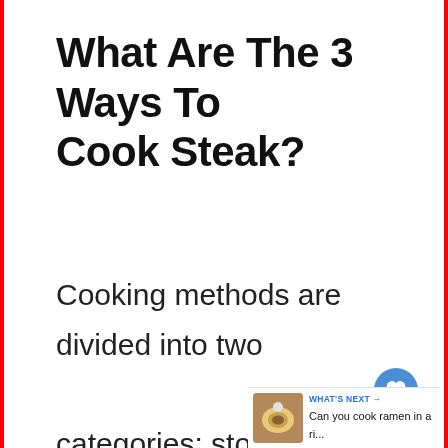What Are The 3 Ways To Cook Steak?
Cooking methods are divided into two categories: stovetop and oven. Stovetop cooking includes grilling, sautéing, baking, braising, and poaching